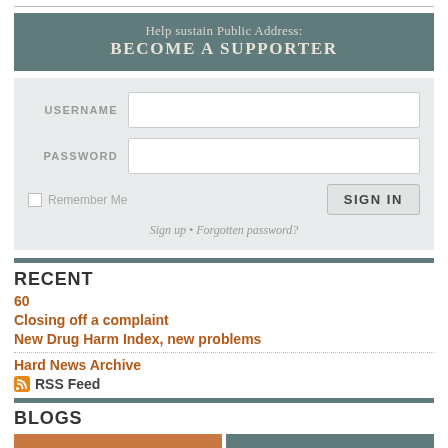[Figure (other): Promotional banner with teal/slate background: 'Help sustain Public Address: BECOME A SUPPORTER']
USERNAME [input field]
PASSWORD [input field]
Remember Me [checkbox] SIGN IN [button]
Sign up • Forgotten password?
RECENT
60
Closing off a complaint
New Drug Harm Index, new problems
Hard News Archive
RSS Feed
BLOGS